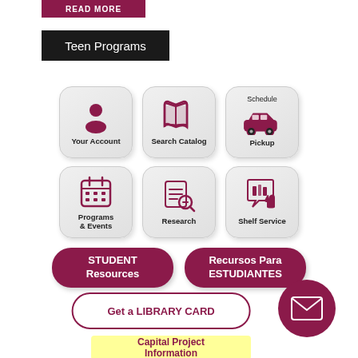[Figure (other): READ MORE button in dark maroon/crimson color]
Teen Programs
[Figure (infographic): Grid of 6 library service icons: Your Account (person icon), Search Catalog (open book icon), Schedule Pickup (car icon), Programs & Events (calendar icon), Research (document with magnifying glass icon), Shelf Service (speech bubble with books and thumbs up icon)]
[Figure (other): STUDENT Resources button in maroon rounded rectangle]
[Figure (other): Recursos Para ESTUDIANTES button in maroon rounded rectangle]
[Figure (other): Get a LIBRARY CARD button with maroon border]
[Figure (other): Email/envelope icon in dark maroon circle]
Capital Project Information